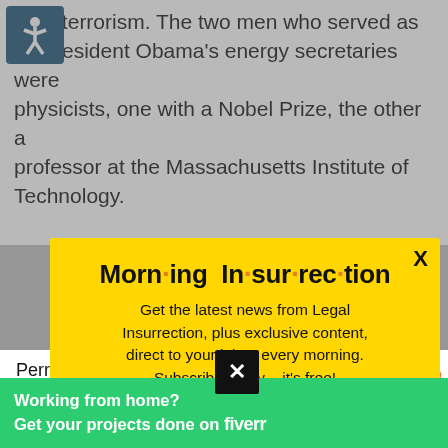unterterrorism. The two men who served as President Obama's energy secretaries were physicists, one with a Nobel Prize, the other a professor at the Massachusetts Institute of Technology.
[Figure (infographic): Yellow modal popup for Morning Insurrection newsletter signup over a grayed-out web article background. Modal contains bold title 'Morn·ing In·sur·rec·tion' with orange dots, subscription pitch text, and an orange JOIN NOW button. Bottom shows a green Fiverr advertisement banner and a black X dismiss button.]
Perry listed the Education and Commerce de... En...
Working from home? Get your projects done on fiverr